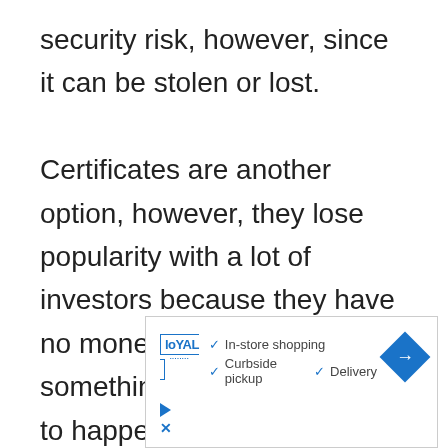security risk, however, since it can be stolen or lost.

Certificates are another option, however, they lose popularity with a lot of investors because they have no monetary value is something catastrophic were to happen.

Doomsday Preppers and other
[Figure (other): Advertisement banner for Loyal with checkmarks listing: In-store shopping, Curbside pickup, Delivery, and a blue diamond arrow icon]